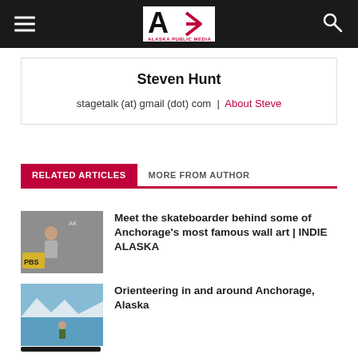Alaska Public Media
Steven Hunt
stagetalk (at) gmail (dot) com | About Steve
RELATED ARTICLES   MORE FROM AUTHOR
Meet the skateboarder behind some of Anchorage's most famous wall art | INDIE ALASKA
[Figure (photo): Thumbnail image of a skateboarder painting wall art]
Orienteering in and around Anchorage, Alaska
[Figure (photo): Thumbnail image of orienteering scene near Anchorage with mountains and water]